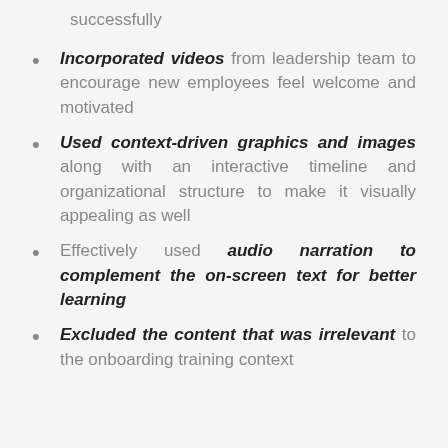successfully
Incorporated videos from leadership team to encourage new employees feel welcome and motivated
Used context-driven graphics and images along with an interactive timeline and organizational structure to make it visually appealing as well
Effectively used audio narration to complement the on-screen text for better learning
Excluded the content that was irrelevant to the onboarding training context